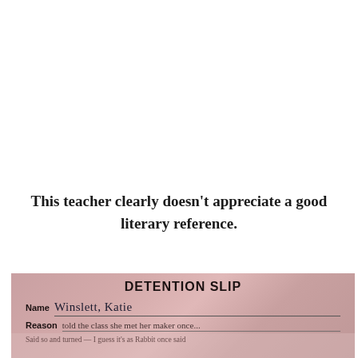This teacher clearly doesn't appreciate a good literary reference.
[Figure (photo): Photo of a pink detention slip with handwritten fields. Title reads 'DETENTION SLIP'. Name field shows 'Winslett, Katie'. Reason field is partially visible with handwritten cursive text.]